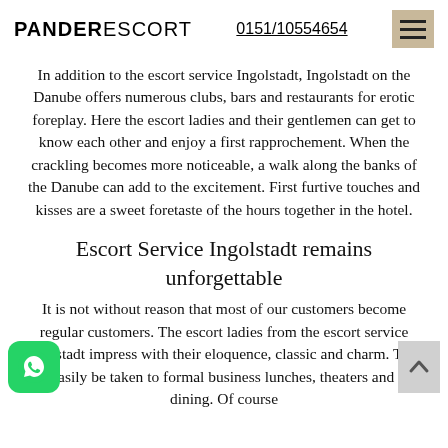PANDERESCORT  0151/10554654
In addition to the escort service Ingolstadt, Ingolstadt on the Danube offers numerous clubs, bars and restaurants for erotic foreplay. Here the escort ladies and their gentlemen can get to know each other and enjoy a first rapprochement. When the crackling becomes more noticeable, a walk along the banks of the Danube can add to the excitement. First furtive touches and kisses are a sweet foretaste of the hours together in the hotel.
Escort Service Ingolstadt remains unforgettable
It is not without reason that most of our customers become regular customers. The escort ladies from the escort service Ingolstadt impress with their eloquence, classic and charm. They can easily be taken to formal business lunches, theaters and fine dining. Of course